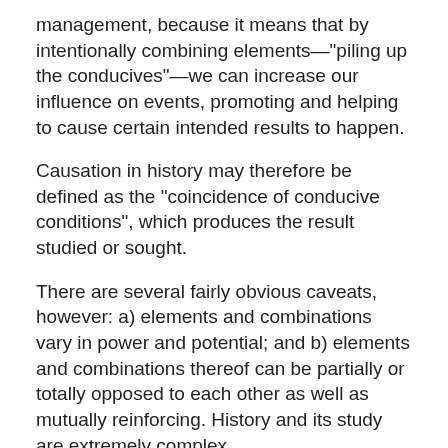management, because it means that by intentionally combining elements—“piling up the conducives”—we can increase our influence on events, promoting and helping to cause certain intended results to happen.
Causation in history may therefore be defined as the “coincidence of conducive conditions”, which produces the result studied or sought.
There are several fairly obvious caveats, however: a) elements and combinations vary in power and potential; and b) elements and combinations thereof can be partially or totally opposed to each other as well as mutually reinforcing. History and its study are extremely complex.
Therefore every historical event or development results from complex combinations of influential factors—causes, qualifiers and impediments. Historians identify and describe the activities and influences of various factors in order to illuminate